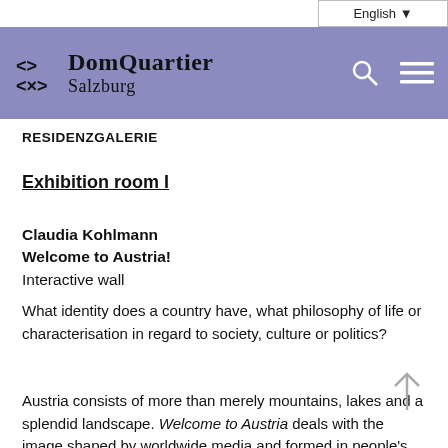English ▼
[Figure (logo): DomQuartier Salzburg logo with navigation header in purple/lavender background, including search and menu icons]
RESIDENZGALERIE
Exhibition room I
Claudia Kohlmann
Welcome to Austria!
Interactive wall
What identity does a country have, what philosophy of life or characterisation in regard to society, culture or politics?
Austria consists of more than merely mountains, lakes and a splendid landscape. Welcome to Austria deals with the image shaped by worldwide media and formed in people's minds. The various illustrations, referring to